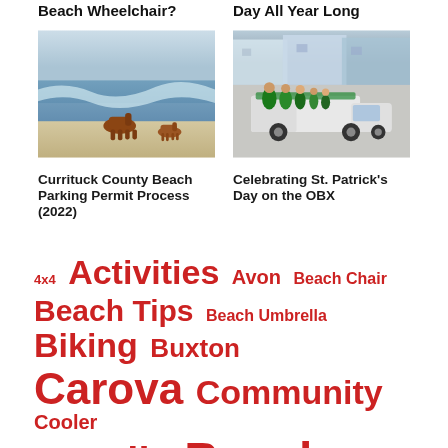Beach Wheelchair?
Day All Year Long
[Figure (photo): Two brown horses running along a beach with waves in the background]
[Figure (photo): A group of people dressed in green standing near a decorated white truck for St. Patrick's Day, with beach houses in the background]
Currituck County Beach Parking Permit Process (2022)
Celebrating St. Patrick's Day on the OBX
4x4
Activities
Avon
Beach Chair
Beach Tips
Beach Umbrella
Biking
Buxton
Carova
Community
Cooler